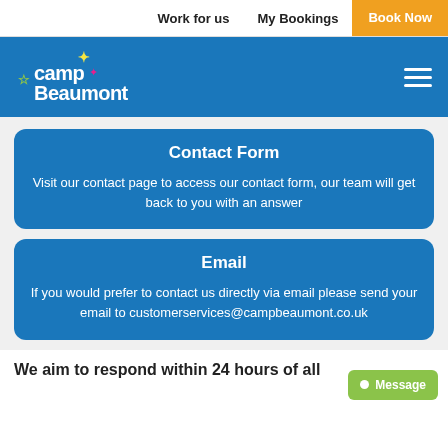Work for us | My Bookings | Book Now
[Figure (logo): Camp Beaumont logo on blue header bar with hamburger menu]
Contact Form
Visit our contact page to access our contact form, our team will get back to you with an answer
Email
If you would prefer to contact us directly via email please send your email to customerservices@campbeaumont.co.uk
We aim to respond within 24 hours of all